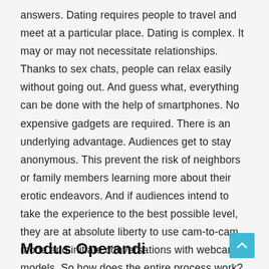answers. Dating requires people to travel and meet at a particular place. Dating is complex. It may or may not necessitate relationships. Thanks to sex chats, people can relax easily without going out. And guess what, everything can be done with the help of smartphones. No expensive gadgets are required. There is an underlying advantage. Audiences get to stay anonymous. This prevent the risk of neighbors or family members learning more about their erotic endeavors. And if audiences intend to take the experience to the best possible level, they are at absolute liberty to use cam-to-cam mode and initiate conversations with webcam models. So how does the entire process work?
Modus Operandi